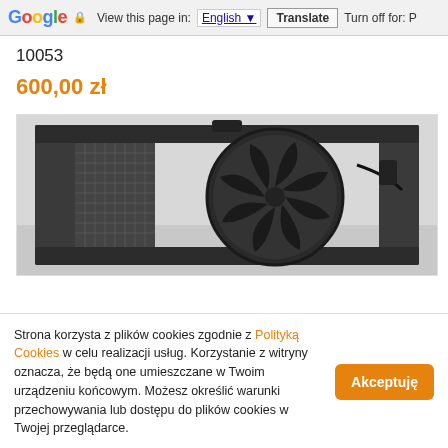Google  View this page in: English  Translate  Turn off for: P
10053
600,00 zł
[Figure (photo): Photo of a black radiator cooling fan assembly for a car, mounted on a grey/white background. The fan has a circular blade visible in the center with a black plastic frame/housing around it and side mounting brackets.]
Strona korzysta z plików cookies zgodnie z Polityką Cookies w celu realizacji usług. Korzystanie z witryny oznacza, że będą one umieszczane w Twoim urządzeniu końcowym. Możesz określić warunki przechowywania lub dostępu do plików cookies w Twojej przeglądarce.